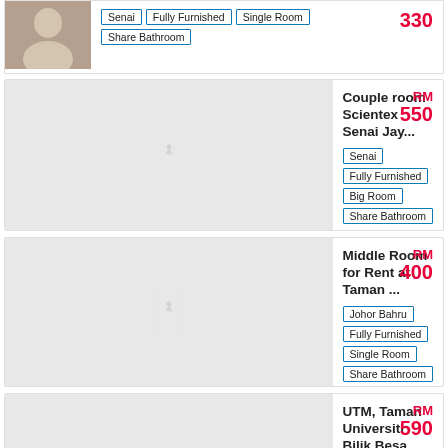[Figure (photo): Listing thumbnail - person photo]
Couple room Scientex Senai Jay... | Senai | Fully Furnished | Big Room | Share Bathroom | RM 550
Middle Room for Rent at Taman ... | Johor Bahru | Fully Furnished | Single Room | Share Bathroom | RM 400
UTM, Taman Universiti Bilik Besa... | Skudai | Fully Furnished | Big Room | Share Bathroom | RM 590
BUKIT INDAH BILIK UNTUK SEW...